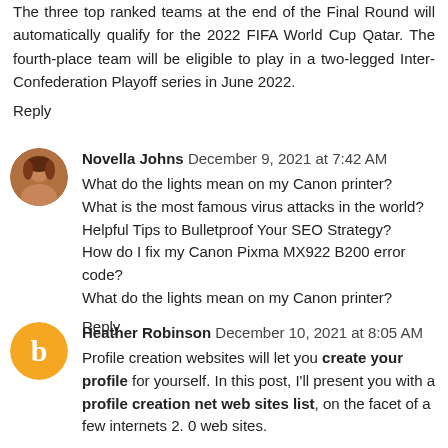The three top ranked teams at the end of the Final Round will automatically qualify for the 2022 FIFA World Cup Qatar. The fourth-place team will be eligible to play in a two-legged Inter-Confederation Playoff series in June 2022.
Reply
Novella Johns  December 9, 2021 at 7:42 AM
What do the lights mean on my Canon printer?
What is the most famous virus attacks in the world?
Helpful Tips to Bulletproof Your SEO Strategy?
How do I fix my Canon Pixma MX922 B200 error code?
What do the lights mean on my Canon printer?
Reply
Heather Robinson  December 10, 2021 at 8:05 AM
Profile creation websites will let you create your profile for yourself. In this post, I'll present you with a profile creation net web sites list, on the facet of a few internets 2. 0 web sites.